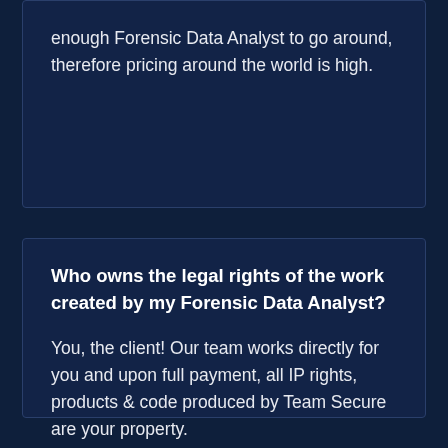enough Forensic Data Analyst to go around, therefore pricing around the world is high.
Who owns the legal rights of the work created by my Forensic Data Analyst?
You, the client! Our team works directly for you and upon full payment, all IP rights, products & code produced by Team Secure are your property.